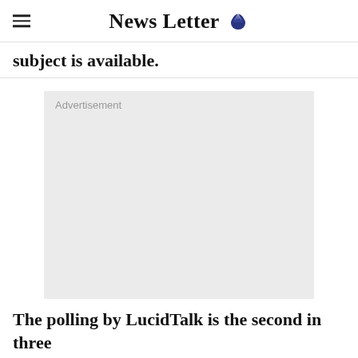News Letter
subject is available.
[Figure (other): Advertisement placeholder box with label 'Advertisement']
The polling by LucidTalk is the second in three